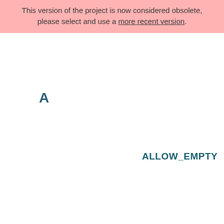This version of the project is now considered obsolete, please select and use a more recent version.
A
ALLOW_EMPTY